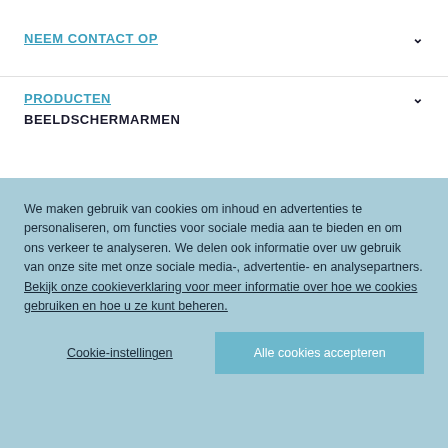NEEM CONTACT OP
PRODUCTEN
BEELDSCHERMARMEN
We maken gebruik van cookies om inhoud en advertenties te personaliseren, om functies voor sociale media aan te bieden en om ons verkeer te analyseren. We delen ook informatie over uw gebruik van onze site met onze sociale media-, advertentie- en analysepartners. Bekijk onze cookieverklaring voor meer informatie over hoe we cookies gebruiken en hoe u ze kunt beheren.
Cookie-instellingen
Alle cookies accepteren